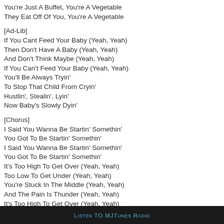You're Just A Buffet, You're A Vegetable
They Eat Off Of You, You're A Vegetable
[Ad-Lib]
If You Cant Feed Your Baby (Yeah, Yeah)
Then Don't Have A Baby (Yeah, Yeah)
And Don't Think Maybe (Yeah, Yeah)
If You Can't Feed Your Baby (Yeah, Yeah)
You'll Be Always Tryin'
To Stop That Child From Cryin'
Hustlin', Stealin', Lyin'
Now Baby's Slowly Dyin'
[Chorus]
I Said You Wanna Be Startin' Somethin'
You Got To Be Startin' Somethin'
I Said You Wanna Be Startin' Somethin'
You Got To Be Startin' Somethin'
It's Too High To Get Over (Yeah, Yeah)
Too Low To Get Under (Yeah, Yeah)
You're Stuck In The Middle (Yeah, Yeah)
And The Pain Is Thunder (Yeah, Yeah)
It's Too High To Get Over (Yeah, Yeah)
Too Low To Get Under (Yeah, Yeah)
Listen to MjTunes Radio